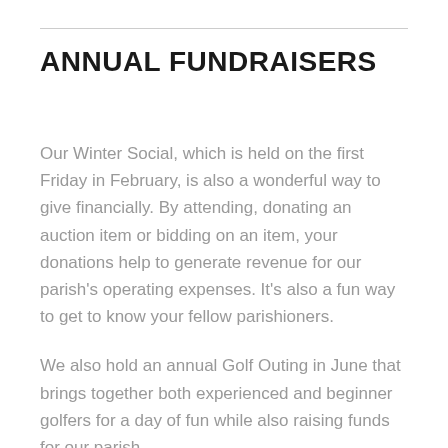ANNUAL FUNDRAISERS
Our Winter Social, which is held on the first Friday in February, is also a wonderful way to give financially. By attending, donating an auction item or bidding on an item, your donations help to generate revenue for our parish's operating expenses. It's also a fun way to get to know your fellow parishioners.
We also hold an annual Golf Outing in June that brings together both experienced and beginner golfers for a day of fun while also raising funds for our parish.